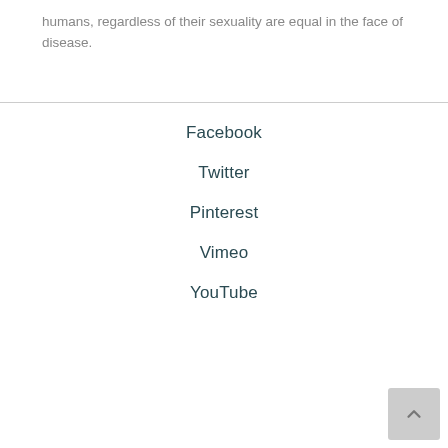humans, regardless of their sexuality are equal in the face of disease.
Facebook
Twitter
Pinterest
Vimeo
YouTube